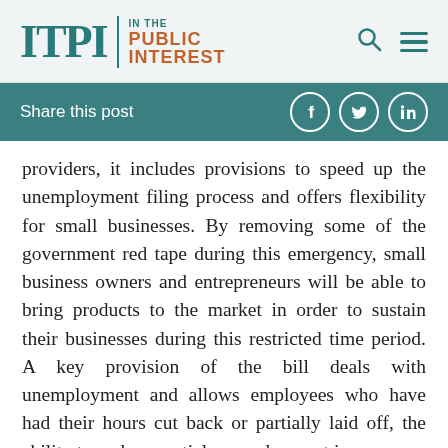ITPI | IN THE PUBLIC INTEREST
Share this post
providers, it includes provisions to speed up the unemployment filing process and offers flexibility for small businesses. By removing some of the government red tape during this emergency, small business owners and entrepreneurs will be able to bring products to the market in order to sustain their businesses during this restricted time period. A key provision of the bill deals with unemployment and allows employees who have had their hours cut back or partially laid off, the ability to make a partial unemployment insurance